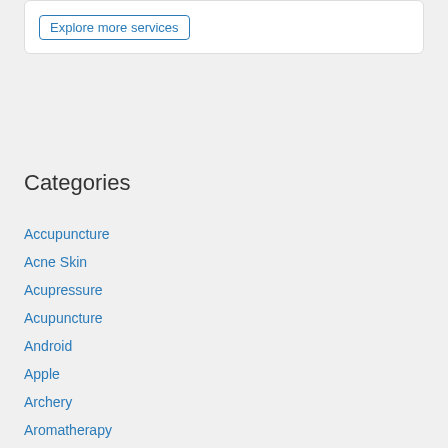Explore more services
Categories
Accupuncture
Acne Skin
Acupressure
Acupuncture
Android
Apple
Archery
Aromatherapy